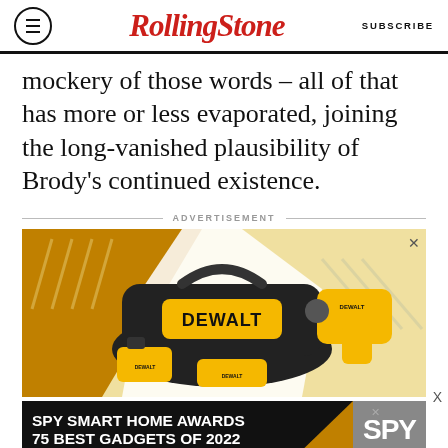RollingStone — SUBSCRIBE
mockery of those words – all of that has more or less evaporated, joining the long-vanished plausibility of Brody's continued existence.
ADVERTISEMENT
[Figure (photo): DeWalt drill and tool bag advertisement with yellow and black color scheme showing a power drill, battery pack, charger, and tool bag with DeWalt branding]
[Figure (infographic): SPY Smart Home Awards – 75 Best Gadgets of 2022 banner advertisement with SPY logo on dark background]